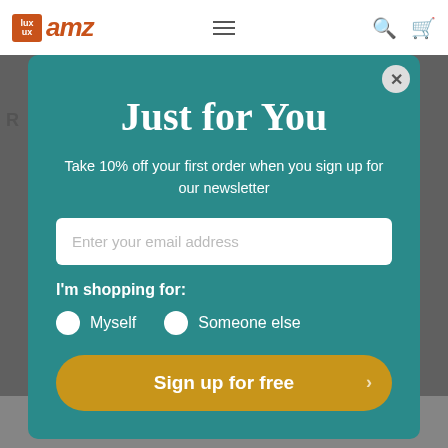[Figure (screenshot): Website header with AMZ logo, hamburger menu, search and cart icons]
Just for You
Take 10% off your first order when you sign up for our newsletter
Enter your email address
I'm shopping for:
Myself
Someone else
Sign up for free